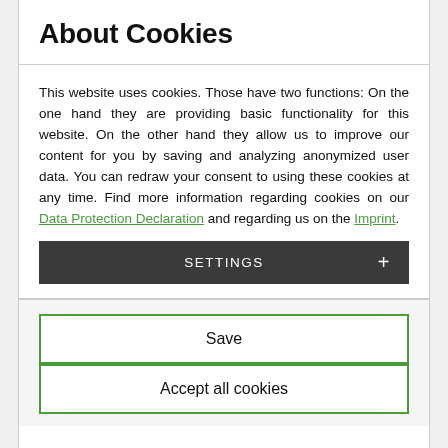About Cookies
This website uses cookies. Those have two functions: On the one hand they are providing basic functionality for this website. On the other hand they allow us to improve our content for you by saving and analyzing anonymized user data. You can redraw your consent to using these cookies at any time. Find more information regarding cookies on our Data Protection Declaration and regarding us on the Imprint.
SETTINGS +
Save
Accept all cookies